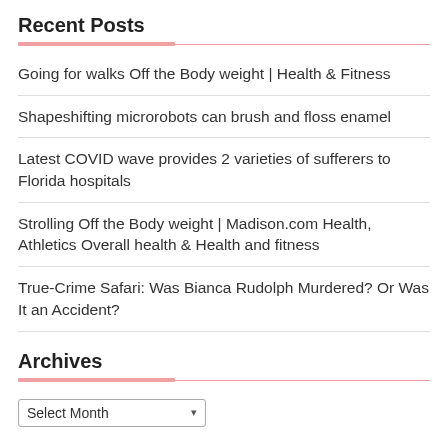Recent Posts
Going for walks Off the Body weight | Health & Fitness
Shapeshifting microrobots can brush and floss enamel
Latest COVID wave provides 2 varieties of sufferers to Florida hospitals
Strolling Off the Body weight | Madison.com Health, Athletics Overall health & Health and fitness
True-Crime Safari: Was Bianca Rudolph Murdered? Or Was It an Accident?
Archives
Select Month